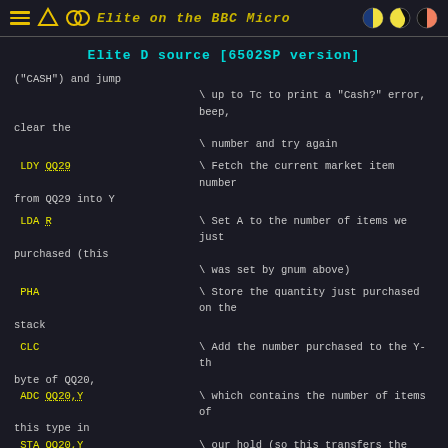Elite on the BBC Micro
Elite D source [6502SP version]
("CASH") and jump
                    \ up to Tc to print a "Cash?" error, beep, clear the
                    \ number and try again

 LDY QQ29            \ Fetch the current market item number from QQ29 into Y

 LDA R               \ Set A to the number of items we just purchased (this
                    \ was set by gnum above)

 PHA                 \ Store the quantity just purchased on the stack

 CLC                 \ Add the number purchased to the Y-th byte of QQ20,
 ADC QQ20,Y          \ which contains the number of items of this type in
 STA QQ20,Y          \ our hold (so this transfers the bought items into our
                    \ cargo hold)

 LDA AVL,Y           \ Subtract the number of items from the Y-th byte of